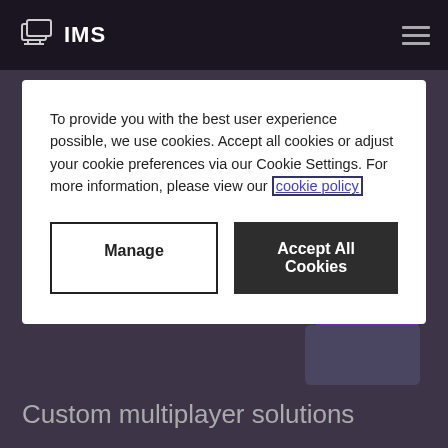IMS
[Figure (illustration): Illustration of a person in purple clothing working at a computer with a dark interface showing figures/athletes on screen]
To provide you with the best user experience possible, we use cookies. Accept all cookies or adjust your cookie preferences via our Cookie Settings. For more information, please view our cookie policy
Manage
Accept All Cookies
Custom multiplayer solutions